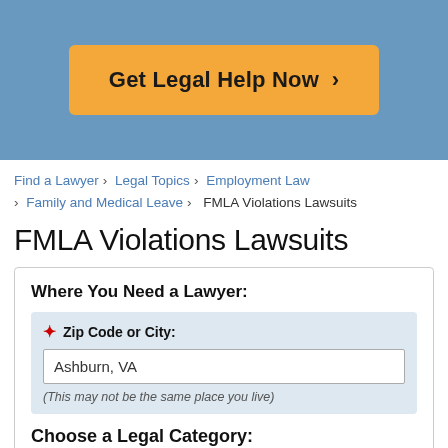[Figure (other): Header banner with orange CTA button 'Get Legal Help Now >' on blue background]
Find a Lawyer > Legal Topics > Employment Law > Family and Medical Leave > FMLA Violations Lawsuits
FMLA Violations Lawsuits
Where You Need a Lawyer:
Zip Code or City: Ashburn, VA (This may not be the same place you live)
Choose a Legal Category:
Most Common Employment Issues:
Disabilities
Sexual Harassment
Employment Cont... (partially visible)